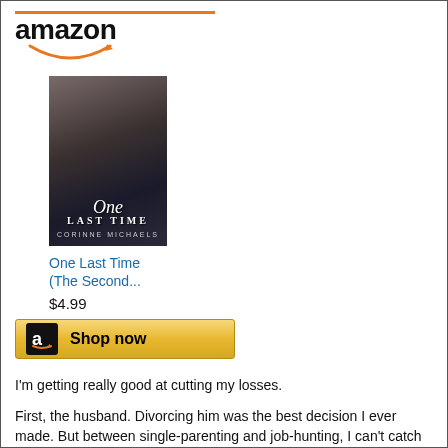[Figure (screenshot): Amazon product listing showing book 'One Last Time (The Second...)' priced at $4.99 with a Shop now button]
I'm getting really good at cutting my losses.
First, the husband. Divorcing him was the best decision I ever made. But between single-parenting and job-hunting, I can't catch my breath. When a celebrity blogger with a full-time crew shows up to document our...